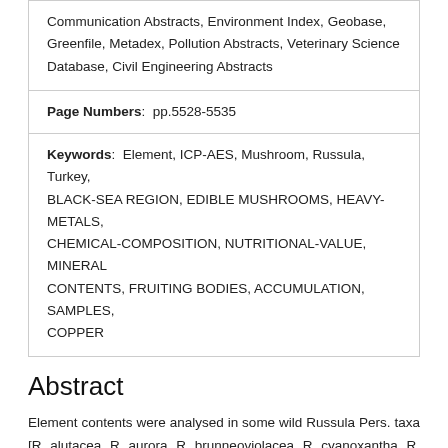Communication Abstracts, Environment Index, Geobase, Greenfile, Metadex, Pollution Abstracts, Veterinary Science Database, Civil Engineering Abstracts
Page Numbers:  pp.5528-5535
Keywords:  Element, ICP-AES, Mushroom, Russula, Turkey, BLACK-SEA REGION, EDIBLE MUSHROOMS, HEAVY-METALS, CHEMICAL-COMPOSITION, NUTRITIONAL-VALUE, MINERAL CONTENTS, FRUITING BODIES, ACCUMULATION, SAMPLES, COPPER
Abstract
Element contents were analysed in some wild Russula Pers. taxa [R. alutacea, R. aurora, R. brunneoviolacea, R. cyanoxantha, R. velutipes and R. virescens] from South Marmara region of Turkey by ICP-AES equipment. Element uptake levels were observed at different levels